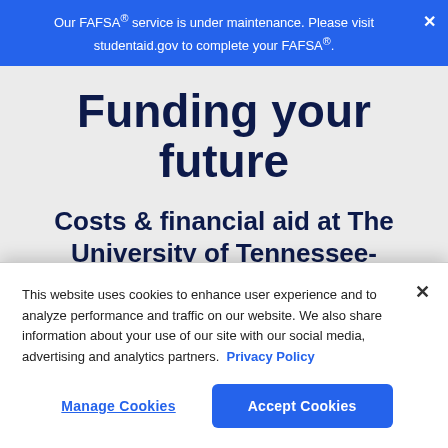Our FAFSA® service is under maintenance. Please visit studentaid.gov to complete your FAFSA®.
Funding your future
Costs & financial aid at The University of Tennessee-Knoxville
The full cost of attendance at The
This website uses cookies to enhance user experience and to analyze performance and traffic on our website. We also share information about your use of our site with our social media, advertising and analytics partners. Privacy Policy